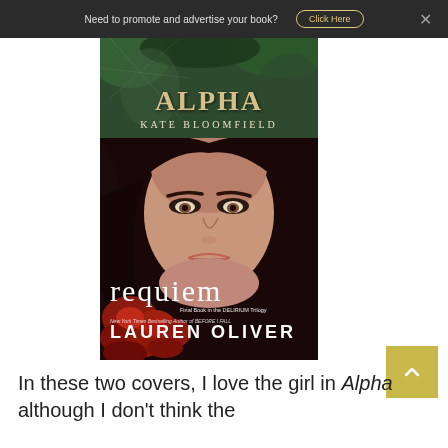Need to promote and advertise your book? Click Here
[Figure (photo): Book cover of 'Alpha' by Kate Bloomfield - dark green toned cover with partial title text visible and author name]
[Figure (photo): Book cover of 'requiem' by Lauren Oliver - close-up of a young woman's face with dark hair and red roses, subtitle 'Final Book in the DELIRIUM Trilogy', 'New York Times Bestselling Author of BEFORE I FALL']
In these two covers, I love the girl in Alpha although I don't think the